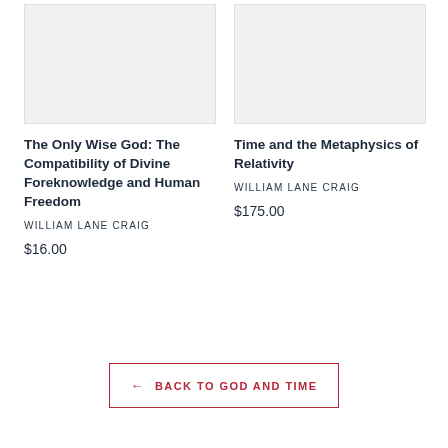[Figure (illustration): Book cover placeholder — light gray rectangle for 'The Only Wise God']
The Only Wise God: The Compatibility of Divine Foreknowledge and Human Freedom
WILLIAM LANE CRAIG
$16.00
[Figure (illustration): Book cover placeholder — light gray rectangle for 'Time and the Metaphysics of Relativity']
Time and the Metaphysics of Relativity
WILLIAM LANE CRAIG
$175.00
← BACK TO GOD AND TIME